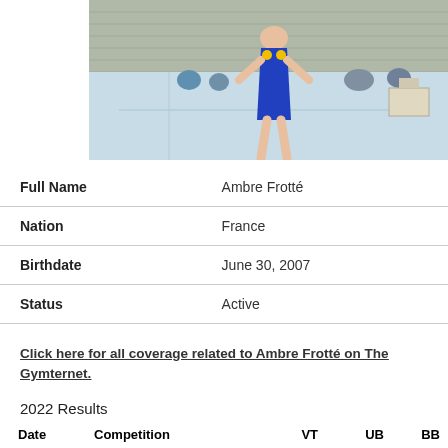[Figure (photo): Gymnast in blue leotard with medals standing in a gymnasium/arena with stadium seating visible in background, standing on a light blue gymnastics floor]
| Full Name | Ambre Frotté |
| --- | --- |
| Nation | France |
| Birthdate | June 30, 2007 |
| Status | Active |
Click here for all coverage related to Ambre Frotté on The Gymternet.
2022 Results
| Date | Competition | VT | UB | BB |
| --- | --- | --- | --- | --- |
| Jul | European |  |  |  |